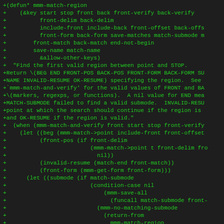[Figure (screenshot): Code diff screenshot showing Lisp/Emacs Lisp function mmm-match-region with green diff additions on dark background]